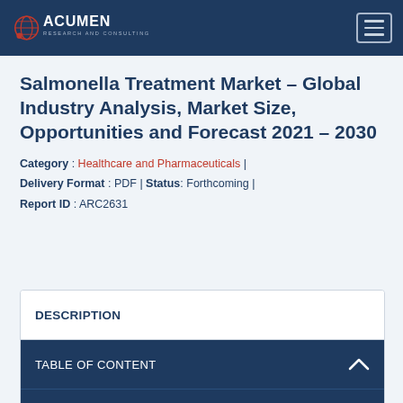Acumen Research and Consulting
Salmonella Treatment Market - Global Industry Analysis, Market Size, Opportunities and Forecast 2021 - 2030
Category : Healthcare and Pharmaceuticals | Delivery Format : PDF | Status: Forthcoming | Report ID : ARC2631
DESCRIPTION
TABLE OF CONTENT
REQUEST CUSTOMIZATION